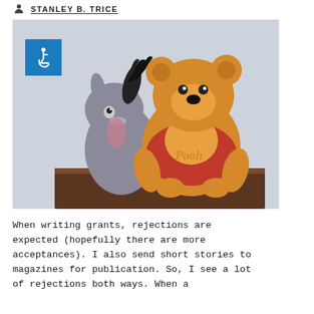STANLEY B. TRICE
[Figure (photo): Two stuffed animal toys — Eeyore (grey donkey) and Winnie the Pooh (brown bear in red shirt) — sitting together on a dark wooden surface against a light blue/grey wall background.]
When writing grants, rejections are expected (hopefully there are more acceptances). I also send short stories to magazines for publication. So, I see a lot of rejections both ways. When a